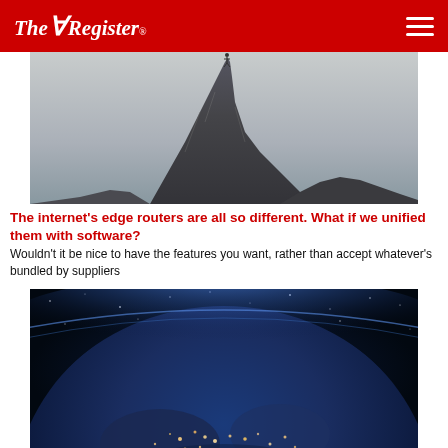The Register
[Figure (photo): A rocky cliff peak with a tiny human figure standing at the top, against a grey sky]
The internet's edge routers are all so different. What if we unified them with software?
Wouldn't it be nice to have the features you want, rather than accept whatever's bundled by suppliers
[Figure (photo): Earth viewed from space at night showing city lights across North America, with a blue atmospheric glow and starry space background]
FCC decides against giving Starlink $1b in rural broadband subsidies